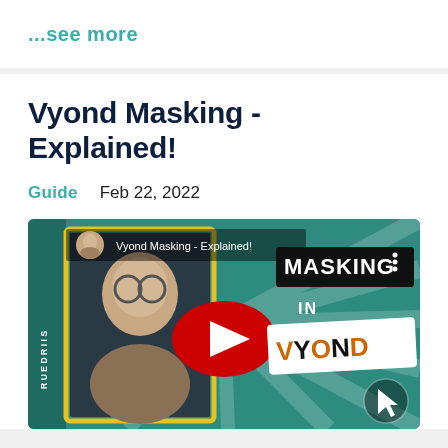...see more
Vyond Masking - Explained!
Guide   Feb 22, 2022
[Figure (screenshot): YouTube video thumbnail for 'Vyond Masking - Explained!' showing a man with glasses smiling, with the YouTube play button in the center and text 'MASKING IN VYOND' on the right side on a teal background. Channel avatar and name 'RUEDRIIS' visible on left.]